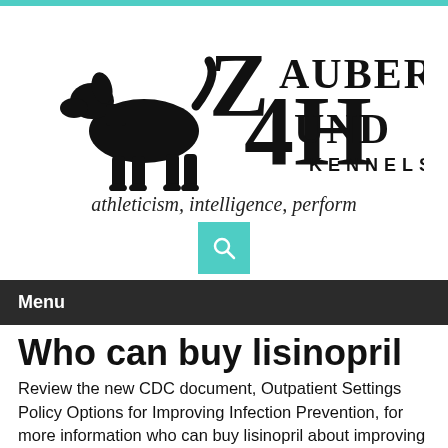[Figure (logo): Zauber Hund Kennels logo with a black dog silhouette and stylized ZH lettering]
athleticism, intelligence, perform
[Figure (other): Teal search button with magnifying glass icon]
Menu
Who can buy lisinopril
Review the new CDC document, Outpatient Settings Policy Options for Improving Infection Prevention, for more information who can buy lisinopril about improving check infection control practices. Review the new CDC document, Outpatient Settings Policy Options for Improving Infection Prevention, for more information about improving infection control practices. Safe